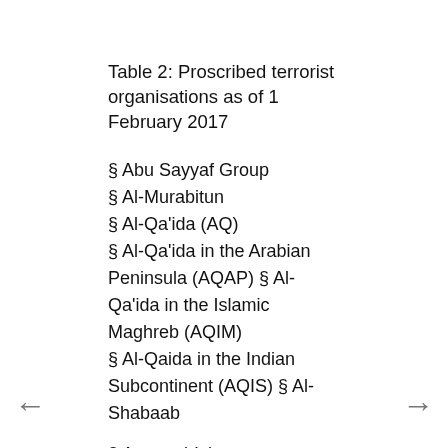Table 2: Proscribed terrorist organisations as of 1 February 2017
§ Abu Sayyaf Group
§ Al-Murabitun
§ Al-Qa'ida (AQ)
§ Al-Qa'ida in the Arabian Peninsula (AQAP) § Al-Qa'ida in the Islamic Maghreb (AQIM)
§ Al-Qaida in the Indian Subcontinent (AQIS) § Al-Shabaab
§ Ansar al-Islam
§ Boko Haram
§ Hamas' Izz al-Din al-Qassam Brigades
§ Hizballah's External Security Organisation (ESO)
§ Islamic Movement of Uzbekistan
§ Islamic State